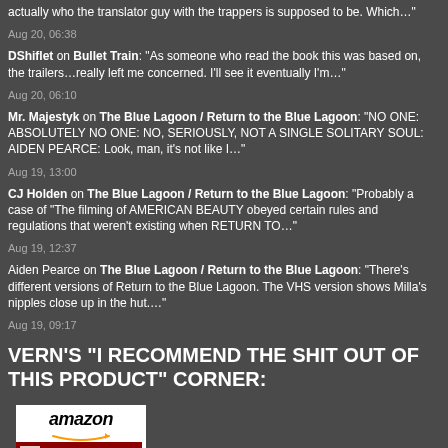actually who the translator guy with the trappers is supposed to be. Which…"
Aug 20, 06:38
DShiflet on Bullet Train: "As someone who read the book this was based on, the trailers…really left me concerned. I'll see it eventually I'm…"
Aug 20, 06:10
Mr. Majestyk on The Blue Lagoon / Return to the Blue Lagoon: "NO ONE: ABSOLUTELY NO ONE: NO, SERIOUSLY, NOT A SINGLE SOLITARY SOUL: AIDEN PEARCE: Look, man, it's not like I…"
Aug 19, 13:00
CJ Holden on The Blue Lagoon / Return to the Blue Lagoon: "Probably a case of "The filming of AMERICAN BEAUTY obeyed certain rules and regulations that weren't existing when RETURN TO…"
Aug 19, 12:37
Aiden Pearce on The Blue Lagoon / Return to the Blue Lagoon: "There's different versions of Return to the Blue Lagoon. The VHS version shows Milla's nipples close up in the hut…."
Aug 19, 09:17
VERN'S “I RECOMMEND THE SHIT OUT OF THIS PRODUCT” CORNER:
[Figure (other): Amazon product recommendation box with Amazon logo and book cover image (Lone Wolf and Cub criterion-style cover with red and dark blue artwork)]